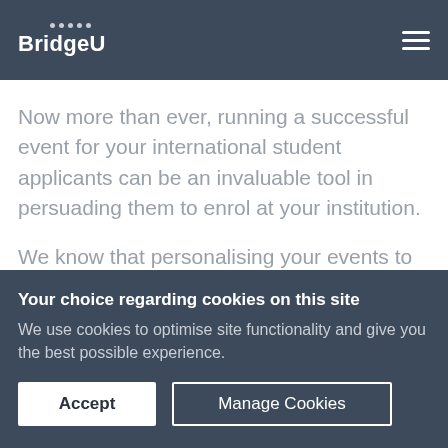BridgeU
Now more than ever, running a successful event for your international student applicants can be an invaluable tool in persuading them to enrol at your institution.
We know that personalising your events to an
Your choice regarding cookies on this site
We use cookies to optimise site functionality and give you the best possible experience.
Accept
Manage Cookies